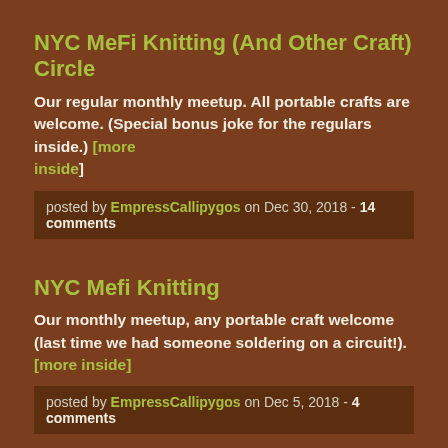NYC MeFi Knitting (And Other Craft) Circle
Our regular monthly meetup. All portable crafts are welcome. (Special bonus joke for the regulars inside.) [more inside]
posted by EmpressCallipygos on Dec 30, 2018 - 14 comments
NYC Mefi Knitting
Our monthly meetup, any portable craft welcome (last time we had someone soldering on a circuit!). [more inside]
posted by EmpressCallipygos on Dec 5, 2018 - 4 comments
New York MeFi Knitting Meetup for October